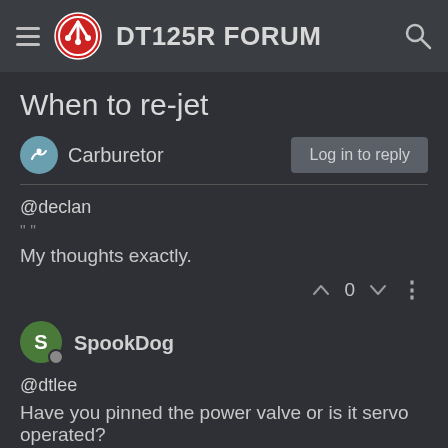DT125R FORUM
When to re-jet
Carburetor
@declan
" "
My thoughts exactly.
0
SpookDog
@dtlee
Have you pinned the power valve or is it servo operated?
0